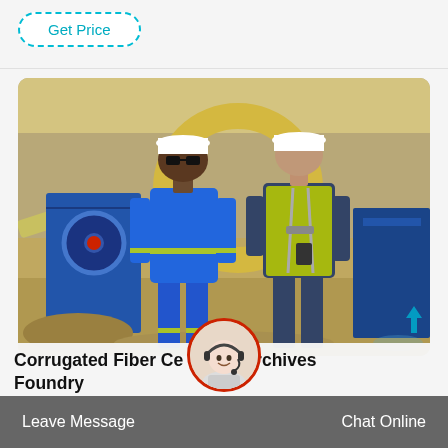Get Price
[Figure (photo): Two workers in safety gear (one in blue coveralls, one in yellow high-vis vest) both wearing white hard hats, standing in front of mining/construction equipment including a large yellow wheel and blue machinery at an outdoor industrial site.]
Corrugated Fiber Ce... rds Archives Foundry
Leave Message
Chat Online